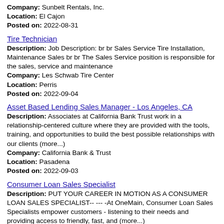Company: Sunbelt Rentals, Inc.
Location: El Cajon
Posted on: 2022-08-31
Tire Technician
Description: Job Description: br br Sales Service Tire Installation, Maintenance Sales br br The Sales Service position is responsible for the sales, service and maintenance
Company: Les Schwab Tire Center
Location: Perris
Posted on: 2022-09-04
Asset Based Lending Sales Manager - Los Angeles, CA
Description: Associates at California Bank Trust work in a relationship-centered culture where they are provided with the tools, training, and opportunities to build the best possible relationships with our clients (more...)
Company: California Bank & Trust
Location: Pasadena
Posted on: 2022-09-03
Consumer Loan Sales Specialist
Description: PUT YOUR CAREER IN MOTION AS A CONSUMER LOAN SALES SPECIALIST-- --- -At OneMain, Consumer Loan Sales Specialists empower customers - listening to their needs and providing access to friendly, fast, and (more...)
Company: OneMain Financial
Location: Cathedral City